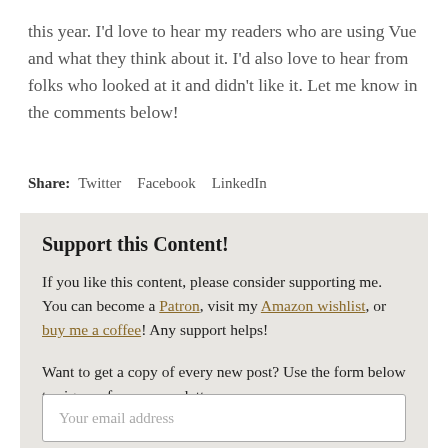this year. I'd love to hear my readers who are using Vue and what they think about it. I'd also love to hear from folks who looked at it and didn't like it. Let me know in the comments below!
Share: Twitter Facebook LinkedIn
Support this Content!
If you like this content, please consider supporting me. You can become a Patron, visit my Amazon wishlist, or buy me a coffee! Any support helps!
Want to get a copy of every new post? Use the form below to sign up for my newsletter.
Your email address